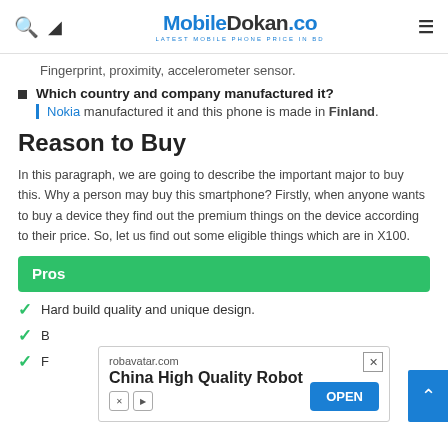MobileDokan.co - Latest Mobile Phone Price in BD
Fingerprint, proximity, accelerometer sensor.
Which country and company manufactured it? Nokia manufactured it and this phone is made in Finland.
Reason to Buy
In this paragraph, we are going to describe the important major to buy this. Why a person may buy this smartphone? Firstly, when anyone wants to buy a device they find out the premium things on the device according to their price. So, let us find out some eligible things which are in X100.
Pros
Hard build quality and unique design.
B...
F...